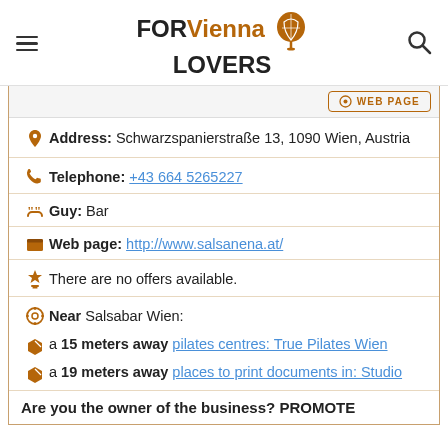FOR Vienna LOVERS [logo with balloon]
Address: Schwarzspanierstraße 13, 1090 Wien, Austria
Telephone: +43 664 5265227
Guy: Bar
Web page: http://www.salsanena.at/
There are no offers available.
Near Salsabar Wien:
a 15 meters away pilates centres: True Pilates Wien
a 19 meters away places to print documents in: Studio
Are you the owner of the business? PROMOTE